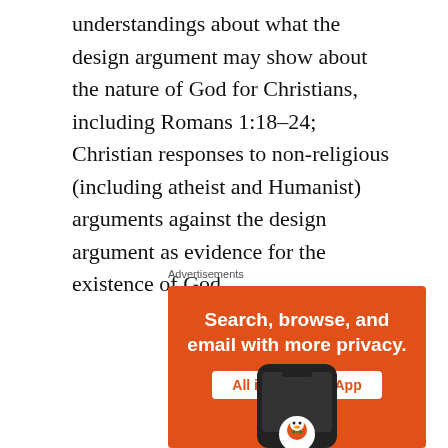understandings about what the design argument may show about the nature of God for Christians, including Romans 1:18–24; Christian responses to non-religious (including atheist and Humanist) arguments against the design argument as evidence for the existence of God.
Advertisements
[Figure (other): DuckDuckGo advertisement banner with orange background. Text reads: 'Search, browse, and email with more privacy. All in One Free App'. Shows a smartphone with DuckDuckGo logo duck icon at the bottom.]